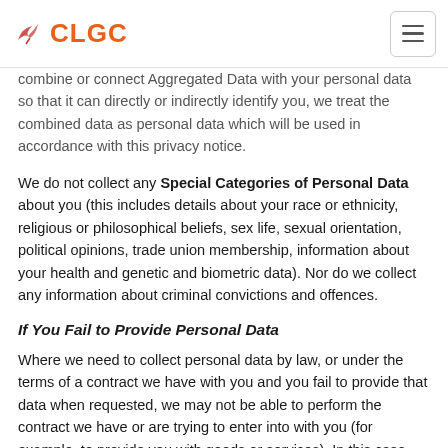CLGC
combine or connect Aggregated Data with your personal data so that it can directly or indirectly identify you, we treat the combined data as personal data which will be used in accordance with this privacy notice.
We do not collect any Special Categories of Personal Data about you (this includes details about your race or ethnicity, religious or philosophical beliefs, sex life, sexual orientation, political opinions, trade union membership, information about your health and genetic and biometric data). Nor do we collect any information about criminal convictions and offences.
If You Fail to Provide Personal Data
Where we need to collect personal data by law, or under the terms of a contract we have with you and you fail to provide that data when requested, we may not be able to perform the contract we have or are trying to enter into with you (for example, to provide you with goods or services). In this case, we may have to cancel a product or service you have with us